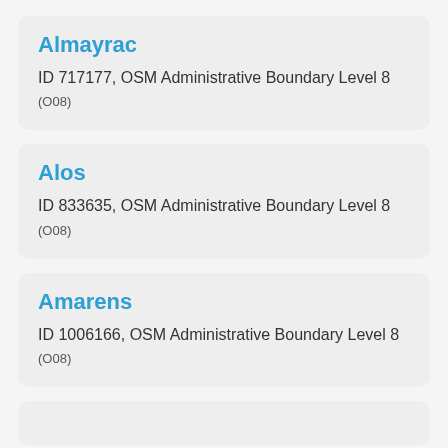Almayrac
ID 717177, OSM Administrative Boundary Level 8 (O08)
Alos
ID 833635, OSM Administrative Boundary Level 8 (O08)
Amarens
ID 1006166, OSM Administrative Boundary Level 8 (O08)